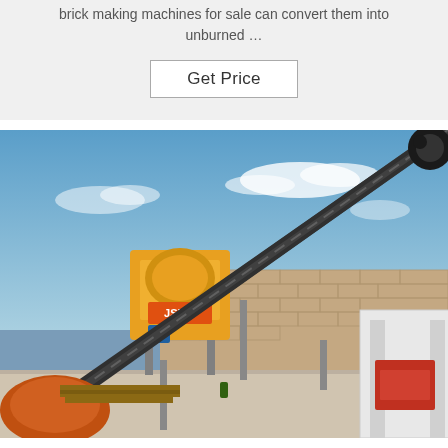brick making machines for sale can convert them into unburned …
Get Price
[Figure (photo): Outdoor industrial construction site showing a yellow JS500 concrete mixer and a large diagonal conveyor belt system against a blue sky with clouds and a brick wall background. Red machinery visible on the right.]